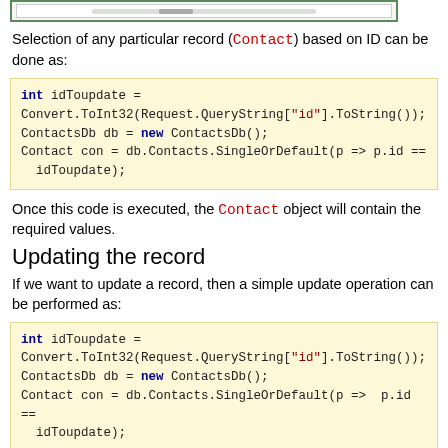[Figure (screenshot): Top portion of a UI screenshot showing a table/grid interface with a scrollbar, partially cropped at top of page]
Selection of any particular record (Contact) based on ID can be done as:
int idToupdate =
Convert.ToInt32(Request.QueryString["id"].ToString());
ContactsDb db = new ContactsDb();
Contact con = db.Contacts.SingleOrDefault(p => p.id ==
idToupdate);
Once this code is executed, the Contact object will contain the required values.
Updating the record
If we want to update a record, then a simple update operation can be performed as:
int idToupdate =
Convert.ToInt32(Request.QueryString["id"].ToString());
ContactsDb db = new ContactsDb();
Contact con = db.Contacts.SingleOrDefault(p =>  p.id ==
idToupdate);

con.phone = TextBox1.Text;
db.SaveChanges();
Once this code executes, the value of phone number will be updated by a new value which is retrieved from TextBox1.